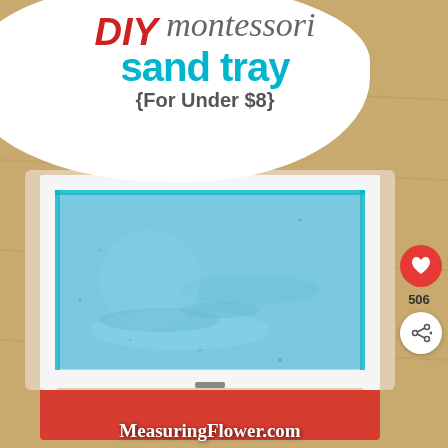[Figure (photo): DIY Montessori sand tray filled with blue-tinted sand inside a wooden box with white trim, placed on a wooden surface with a red base. Pinterest-style pin with like (506) and share buttons on the right side.]
DIY montessori sand tray {For Under $8}
MeasuringFlower.com